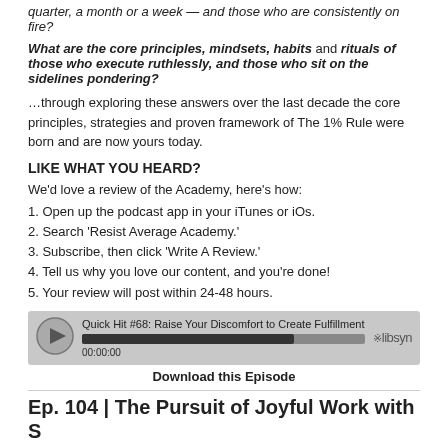quarter, a month or a week — and those who are consistently on fire?
What are the core principles, mindsets, habits and rituals of those who execute ruthlessly, and those who sit on the sidelines pondering?
…through exploring these answers over the last decade the core principles, strategies and proven framework of The 1% Rule were born and are now yours today.
LIKE WHAT YOU HEARD?
We'd love a review of the Academy, here's how:
1. Open up the podcast app in your iTunes or iOs.
2. Search 'Resist Average Academy.'
3. Subscribe, then click 'Write A Review.'
4. Tell us why you love our content, and you're done!
5. Your review will post within 24-48 hours.
[Figure (other): Audio player widget showing: Quick Hit #68: Raise Your Discomfort to Create Fulfillment, with progress bar and 00:00:00 timestamp, libsyn logo]
Download this Episode
Ep. 104 | The Pursuit of Joyful Work with S…